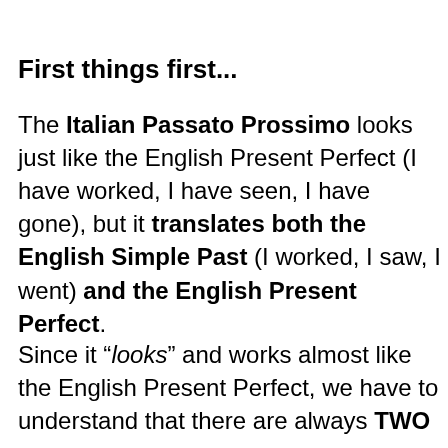First things first...
The Italian Passato Prossimo looks just like the English Present Perfect (I have worked, I have seen, I have gone), but it translates both the English Simple Past (I worked, I saw, I went) and the English Present Perfect.
Since it “looks” and works almost like the English Present Perfect, we have to understand that there are always TWO